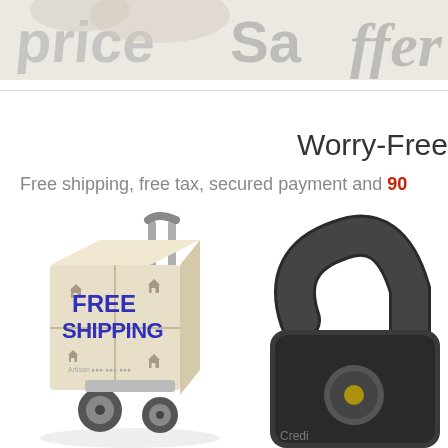[Figure (photo): Partial view of hands holding objects with text fragments visible: 'price', 'Sa...', 'ffer' — appears to be a promotional/shopping themed photo strip at the top of the page]
Worry-Free
Free shipping, free tax, secured payment and 90
[Figure (photo): A hand truck / dolly carrying cardboard boxes labeled FREE SHIPPING in bold blue text, with small house icons on the boxes. Artisan branding visible.]
[Figure (photo): A black combination padlock / credit card lock partially visible on the right side of the page, suggesting secure payment.]